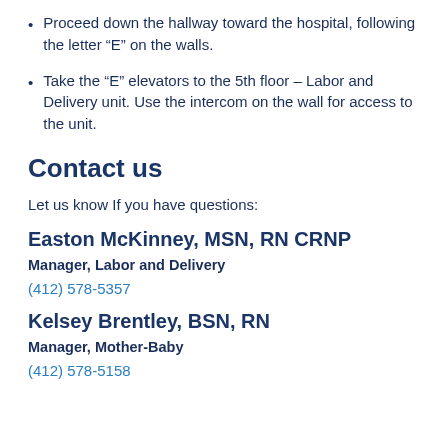Proceed down the hallway toward the hospital, following the letter “E” on the walls.
Take the “E” elevators to the 5th floor – Labor and Delivery unit. Use the intercom on the wall for access to the unit.
Contact us
Let us know If you have questions:
Easton McKinney, MSN, RN CRNP
Manager, Labor and Delivery
(412) 578-5357
Kelsey Brentley, BSN, RN
Manager, Mother-Baby
(412) 578-5158